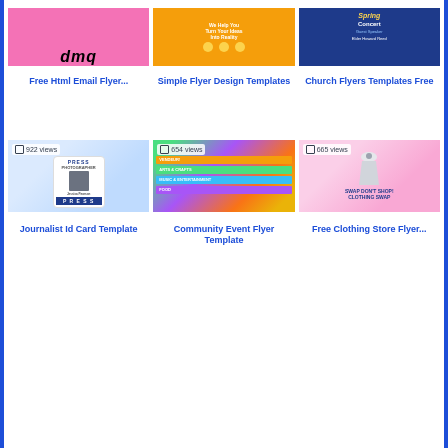[Figure (screenshot): Thumbnail of Free Html Email Flyer - pink background with stylized text]
[Figure (screenshot): Thumbnail of Simple Flyer Design Templates - orange/yellow business flyer]
[Figure (screenshot): Thumbnail of Church Flyers Templates Free - dark blue Spring Concert flyer]
Free Html Email Flyer...
Simple Flyer Design Templates
Church Flyers Templates Free
[Figure (screenshot): Thumbnail of Journalist Id Card Template - press photographer ID card. 922 views.]
[Figure (screenshot): Thumbnail of Community Event Flyer Template - colorful stripes flyer. 654 views.]
[Figure (screenshot): Thumbnail of Free Clothing Store Flyer - pink background swap don't shop. 665 views.]
Journalist Id Card Template
Community Event Flyer Template
Free Clothing Store Flyer...